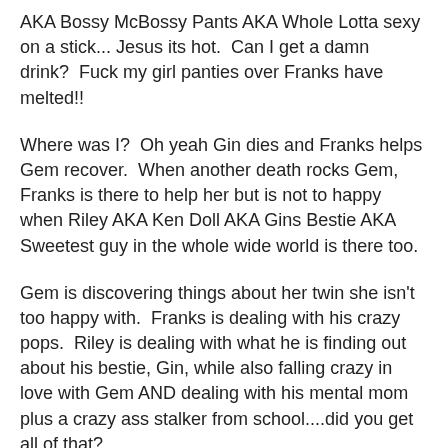AKA Bossy McBossy Pants AKA Whole Lotta sexy on a stick... Jesus its hot.  Can I get a damn drink?  Fuck my girl panties over Franks have melted!!
Where was I?  Oh yeah Gin dies and Franks helps Gem recover.  When another death rocks Gem, Franks is there to help her but is not to happy when Riley AKA Ken Doll AKA Gins Bestie AKA Sweetest guy in the whole wide world is there too.
Gem is discovering things about her twin she isn't too happy with.  Franks is dealing with his crazy pops.  Riley is dealing with what he is finding out about his bestie, Gin, while also falling crazy in love with Gem AND dealing with his mental mom plus a crazy ass stalker from school....did you get all of that?
Friends, This book is amazing and when we find out a lot about Gin I was just as stunned at Gem.  I felt the hurt and the lose